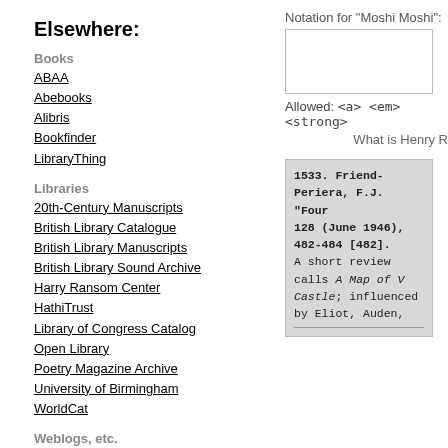Elsewhere:
Books
ABAA
Abebooks
Alibris
Bookfinder
LibraryThing
Libraries
20th-Century Manuscripts
British Library Catalogue
British Library Manuscripts
British Library Sound Archive
Harry Ransom Center
HathiTrust
Library of Congress Catalog
Open Library
Poetry Magazine Archive
University of Birmingham
WorldCat
Weblogs, etc.
Airminded
Alliance of Literary Societies
Archaeolibris
Arts & Letters Daily
BibliOdyssey
Bibliophemera
Bookninja
British Council Literature
Dumbfoundry
E-Verse Radio
Notation for "Moshi Moshi":
[Figure (screenshot): Empty text input box for notation]
Allowed: <a> <em> <strong>
What is Henry R
1533. Friend-Periera, F.J. "Four 128 (June 1946), 482-484 [482]. A short review calls A Map of V Castle; influenced by Eliot, Auden,